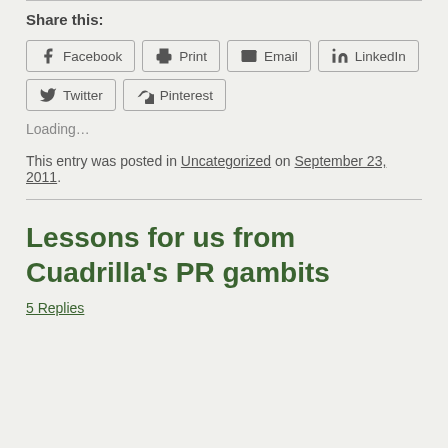Share this:
Facebook  Print  Email  LinkedIn  Twitter  Pinterest
Loading...
This entry was posted in Uncategorized on September 23, 2011.
Lessons for us from Cuadrilla's PR gambits
5 Replies